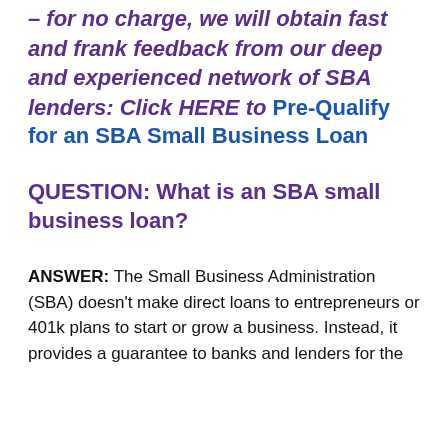– for no charge, we will obtain fast and frank feedback from our deep and experienced network of SBA lenders: Click HERE to Pre-Qualify for an SBA Small Business Loan
QUESTION: What is an SBA small business loan?
ANSWER: The Small Business Administration (SBA) doesn't make direct loans to entrepreneurs or 401k plans to start or grow a business. Instead, it provides a guarantee to banks and lenders for the